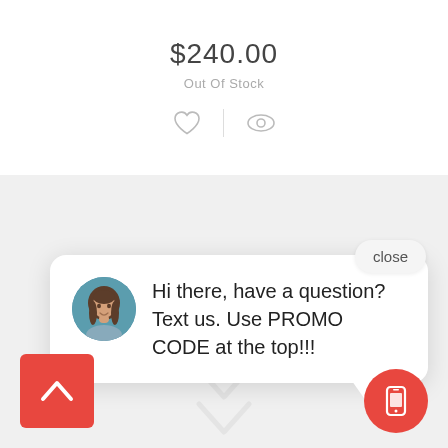$240.00
Out Of Stock
[Figure (screenshot): Heart (wishlist) icon and eye (watch) icon separated by a vertical divider]
close
[Figure (screenshot): Chat popup card with avatar photo of a woman with brown hair on teal background, and message text: Hi there, have a question? Text us. Use PROMO CODE at the top!!!]
Hi there, have a question? Text us. Use PROMO CODE at the top!!!
[Figure (screenshot): Red square button with white upward chevron arrow (scroll to top button)]
[Figure (screenshot): Red circular button with white smartphone/SMS icon]